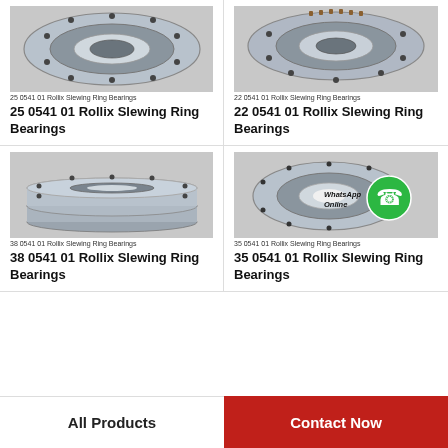[Figure (photo): 25 0541 01 Rollix Slewing Ring Bearing - top partial view of silver ring bearing]
25 0541 01 Rollix Slewing Ring Bearings
25 0541 01 Rollix Slewing Ring Bearings
[Figure (photo): 22 0541 01 Rollix Slewing Ring Bearing - top partial view with gear teeth]
22 0541 01 Rollix Slewing Ring Bearings
22 0541 01 Rollix Slewing Ring Bearings
[Figure (photo): 38 0541 01 Rollix Slewing Ring Bearing - stacked silver annular bearings]
38 0541 01 Rollix Slewing Ring Bearings
38 0541 01 Rollix Slewing Ring Bearings
[Figure (photo): 35 0541 01 Rollix Slewing Ring Bearing with WhatsApp Online overlay]
35 0541 01 Rollix Slewing Ring Bearings
35 0541 01 Rollix Slewing Ring Bearings
All Products
Contact Now